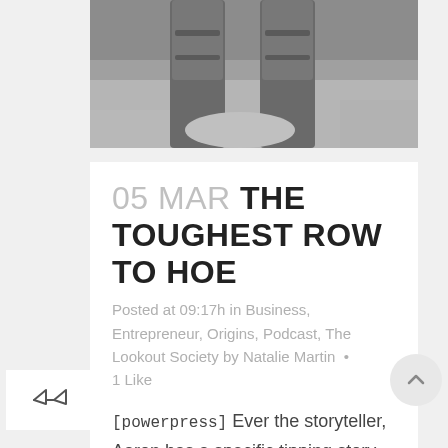[Figure (photo): Black and white photograph showing a person's lower body/feet area on sandy ground, partially cropped at top of page]
05 MAR THE TOUGHEST ROW TO HOE
Posted at 09:17h in Business, Entrepreneur, Origins, Podcast, The Lookout Society by Natalie Martin  •  1 Like
[powerpress] Ever the storyteller, Aaron has a specific tipping story that has helped shaped many of the other aspects of what it takes to have decades worth of business under his